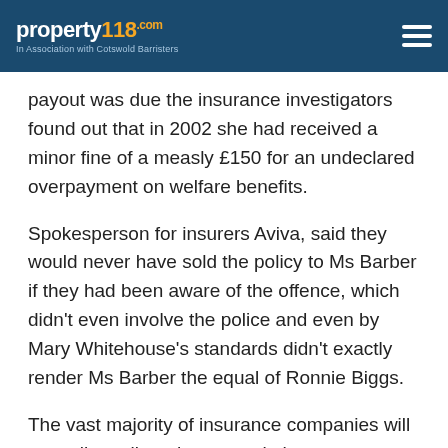property118.com | In Association with Cotswold Barristers
payout was due the insurance investigators found out that in 2002 she had received a minor fine of a measly £150 for an undeclared overpayment on welfare benefits.
Spokesperson for insurers Aviva, said they would never have sold the policy to Ms Barber if they had been aware of the offence, which didn’t even involve the police and even by Mary Whitehouse’s standards didn’t exactly render Ms Barber the equal of Ronnie Biggs.
The vast majority of insurance companies will not sell a policy where people have even minor criminal offences in their recent past. On the tail of the Barber case the Guardian ran an investigative piece